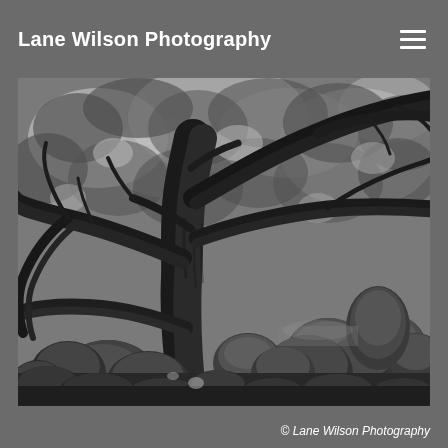Lane Wilson Photography
[Figure (photo): Black and white photograph of a large gnarled tree with twisting branches, surrounded by boulders and rocks, with dense leafy canopy in background]
© Lane Wilson Photography